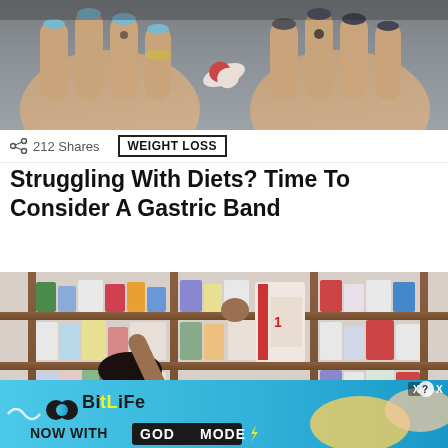[Figure (photo): Close-up of hands with painted nails holding small items (pills/capsules), blurred background]
212 Shares
WEIGHT LOSS
Struggling With Diets? Time To Consider A Gastric Band
[Figure (photo): A man in a pharmacy reaching up to grab a medicine box from shelves stocked with various pharmaceutical products]
[Figure (photo): BitLife advertisement banner - NOW WITH GOD MODE - with cartoon hands and lightning bolt graphics on blue background]